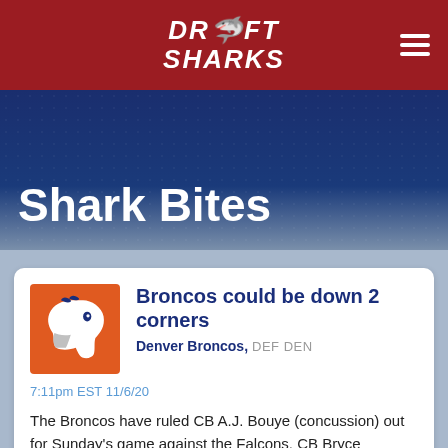Draft Sharks
Shark Bites
Broncos could be down 2 corners
Denver Broncos, DEF DEN
7:11pm EST 11/6/20
The Broncos have ruled CB A.J. Bouye (concussion) out for Sunday's game against the Falcons. CB Bryce Callahan (ankle) is questionable. If Callahan can't go, Denver would be missing its top 2 corners. That could only help Falcons QB Matt Ryan and WR Julio Jones.